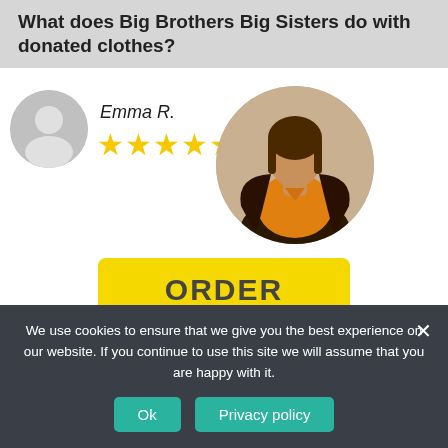What does Big Brothers Big Sisters do with donated clothes?
Emma R.
[Figure (other): Five yellow star rating icons]
[Figure (photo): Circular cropped photo of a woman wearing an orange top and dark floral jacket]
[Figure (other): Yellow ORDER button]
Professional Homework Help
We use cookies to ensure that we give you the best experience on our website. If you continue to use this site we will assume that you are happy with it.
Ok
Privacy policy